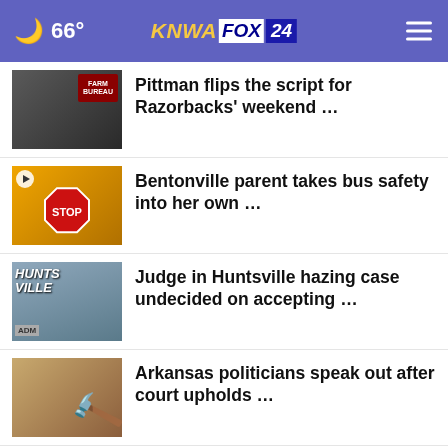66° KNWA FOX 24
Pittman flips the script for Razorbacks' weekend …
Bentonville parent takes bus safety into her own …
Judge in Huntsville hazing case undecided on accepting …
Arkansas politicians speak out after court upholds …
UAMS receives $250,000 in ARP funding for food security
More Stories ›